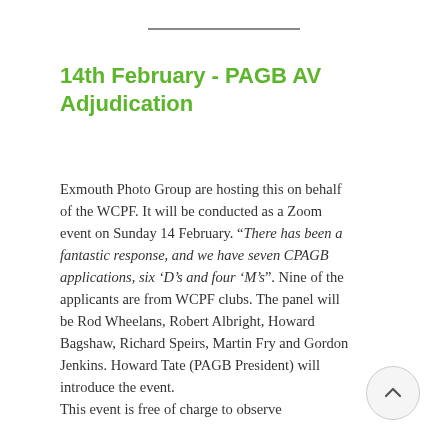14th February - PAGB AV Adjudication
Exmouth Photo Group are hosting this on behalf of the WCPF. It will be conducted as a Zoom event on Sunday 14 February. "There has been a fantastic response, and we have seven CPAGB applications, six ‘D’s and four ‘M’s". Nine of the applicants are from WCPF clubs. The panel will be Rod Wheelans, Robert Albright, Howard Bagshaw, Richard Speirs, Martin Fry and Gordon Jenkins. Howard Tate (PAGB President) will introduce the event. This event is free of charge to observe